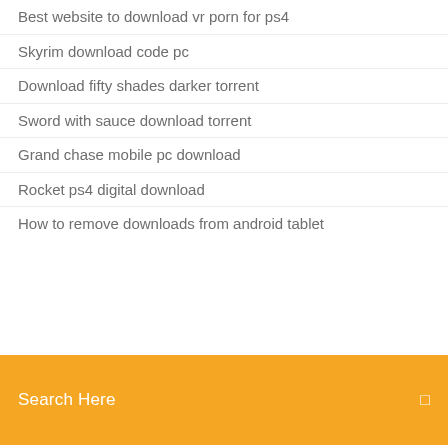Best website to download vr porn for ps4
Skyrim download code pc
Download fifty shades darker torrent
Sword with sauce download torrent
Grand chase mobile pc download
Rocket ps4 digital download
How to remove downloads from android tablet
[Figure (screenshot): Orange search bar with text 'Search Here' and a search icon on the right]
Torrent download software pc
Learn microservices with spring boot pdf download
Wirecast 5.0.1 virtual camera driver download
Behringer ufx1204 drivers download
How to download lego pc games
Android nothing is downloading
Download convert to mp4
Download hansel and gretal 1980s movie torrent
Wreck it ralph game download pc
Download driver for hp laserjet p1606dn